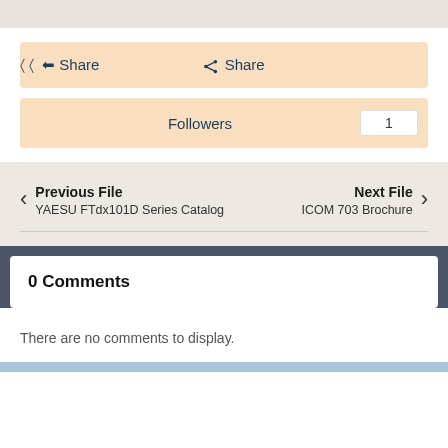Share
Followers 1
Previous File
YAESU FTdx101D Series Catalog
Next File
ICOM 703 Brochure
0 Comments
There are no comments to display.